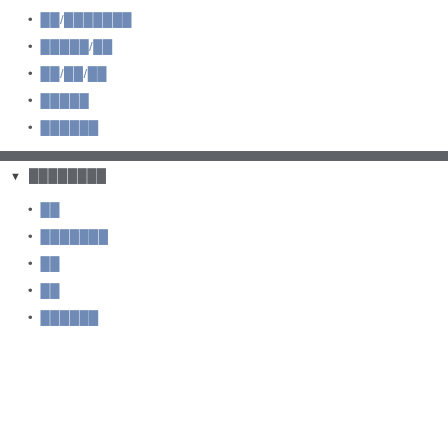██/███████
█████/██
██/██/██
█████
██████
▼ ████████
██
███████
██
██
██████